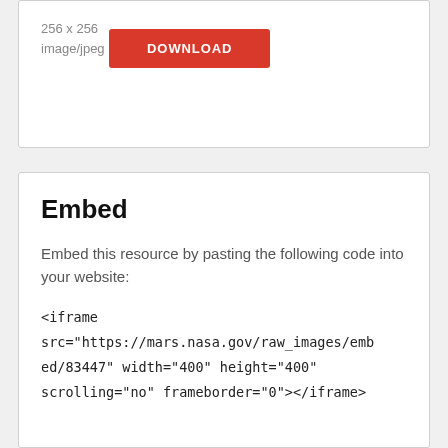256 x 256
image/jpeg
DOWNLOAD
Embed
Embed this resource by pasting the following code into your website:
<iframe src="https://mars.nasa.gov/raw_images/embed/83447" width="400" height="400" scrolling="no" frameborder="0"></iframe>